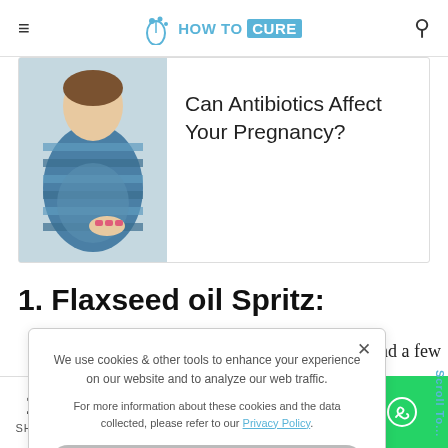HOW TO CURE
[Figure (photo): Pregnant woman in striped top holding pills, article thumbnail]
Can Antibiotics Affect Your Pregnancy?
1. Flaxseed oil Spritz:
We use cookies & other tools to enhance your experience on our website and to analyze our web traffic.

For more information about these cookies and the data collected, please refer to our Privacy Policy.
, and a few
d coconut
emulsion in
r hair with
y to make